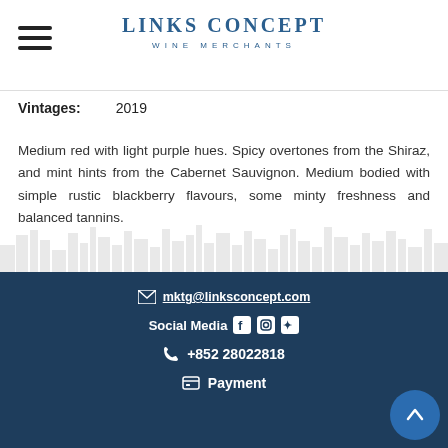[Figure (logo): Links Concept Wine Merchants logo with hamburger menu icon]
Vintages: 2019
Medium red with light purple hues. Spicy overtones from the Shiraz, and mint hints from the Cabernet Sauvignon. Medium bodied with simple rustic blackberry flavours, some minty freshness and balanced tannins.
[Figure (illustration): Light grey city skyline silhouette background illustration]
mktg@linksconcept.com | Social Media | +852 28022818 | Payment